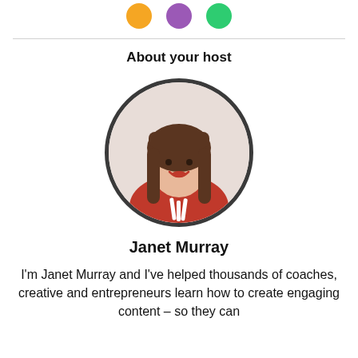[Figure (illustration): Three small colored icon circles (orange, purple, green) in a row at the top]
About your host
[Figure (photo): Circular portrait photo of Janet Murray, a woman with long brown hair and bangs, wearing a red top, smiling, framed by a dark circular border]
Janet Murray
I'm Janet Murray and I've helped thousands of coaches, creative and entrepreneurs learn how to create engaging content – so they can